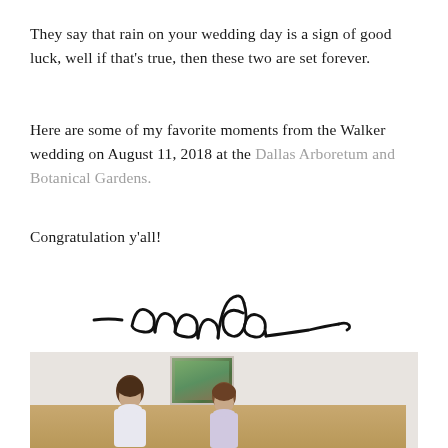They say that rain on your wedding day is a sign of good luck, well if that's true, then these two are set forever.
Here are some of my favorite moments from the Walker wedding on August 11, 2018 at the Dallas Arboretum and Botanical Gardens.
Congratulation y'all!
[Figure (illustration): Handwritten cursive signature reading '- amanda']
[Figure (photo): Wedding preparation photo showing two people in a room with a landscape painting on the wall]